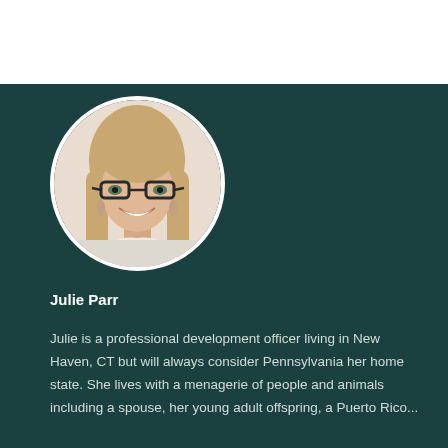[Figure (photo): Circular headshot photo of Julie Parr, a woman with long blonde hair and glasses, smiling]
Julie Parr
Julie is a professional development officer living in New Haven, CT but will always consider Pennsylvania her home state. She lives with a menagerie of people and animals including a spouse, her young adult offspring, a Puerto Rico...